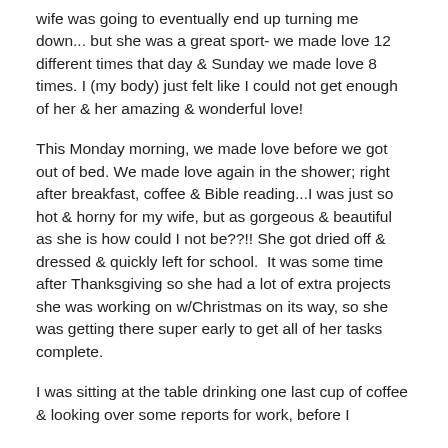wife was going to eventually end up turning me down... but she was a great sport- we made love 12 different times that day & Sunday we made love 8 times. I (my body) just felt like I could not get enough of her & her amazing & wonderful love!
This Monday morning, we made love before we got out of bed. We made love again in the shower; right after breakfast, coffee & Bible reading...I was just so hot & horny for my wife, but as gorgeous & beautiful as she is how could I not be??!! She got dried off & dressed & quickly left for school.  It was some time after Thanksgiving so she had a lot of extra projects she was working on w/Christmas on its way, so she was getting there super early to get all of her tasks complete.
I was sitting at the table drinking one last cup of coffee & looking over some reports for work, before I